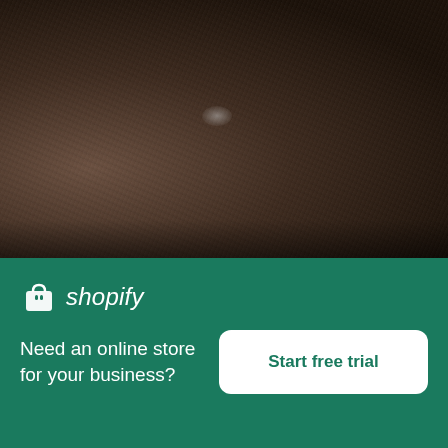[Figure (photo): Close-up photo of a rocky, textured surface with dark brown and grey tones, partially blurred]
White Van Drives Down City Street
High resolution download ↓
[Figure (photo): Partial view of a second image showing a light grey/beige surface]
[Figure (logo): Shopify logo — shopping bag icon and italic 'shopify' wordmark in white]
Need an online store for your business?
Start free trial